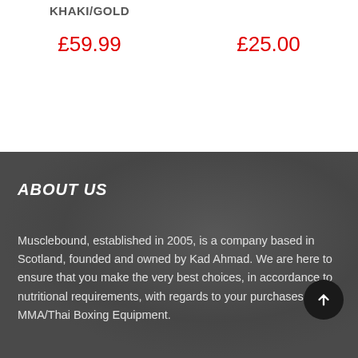KHAKI/GOLD
£59.99
£25.00
ABOUT US
Musclebound, established in 2005, is a company based in Scotland, founded and owned by Kad Ahmad. We are here to ensure that you make the very best choices, in accordance to nutritional requirements, with regards to your purchases in MMA/Thai Boxing Equipment.